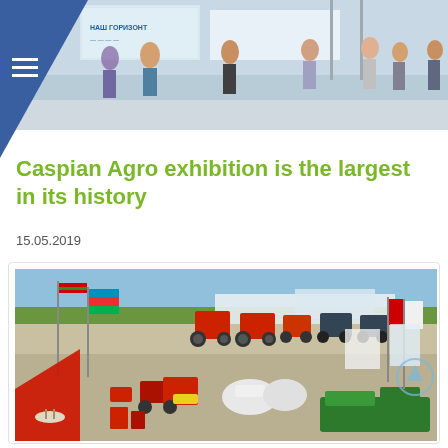[Figure (photo): Exhibition hall header photo showing people at an agricultural trade show, with banners and displays visible]
Caspian Agro exhibition is the largest in its history
15.05.2019
[Figure (photo): Outdoor agricultural exhibition showing tractors, machinery, flags of Belarus and Azerbaijan, red and green agricultural equipment displayed in an open-air setting]